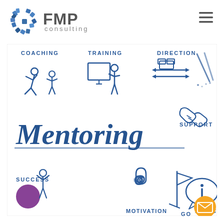[Figure (logo): FMP Consulting logo with blue geometric snowflake-like icon and 'FMP consulting' text in gray]
[Figure (infographic): Mentoring infographic with hand-drawn style icons and labels: COACHING (figure running), TRAINING (figure at whiteboard), DIRECTION (arrows icon), SUPPORT (handshake), SUCCESS (figure celebrating with purple circle), MOTIVATION (padlock icon), ADVICE (speech bubble with 'i'), GOAL (flag icon), central large text 'Mentoring', orange email button, pencil sketch in top right]